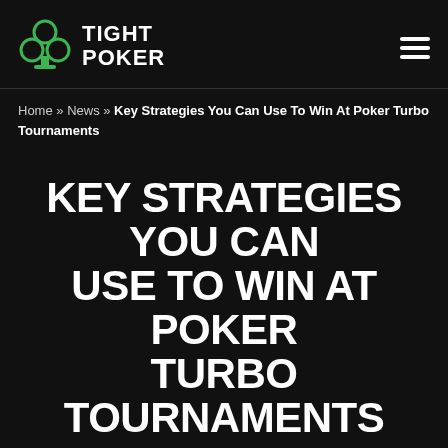TIGHT POKER
Home » News » Key Strategies You Can Use To Win At Poker Turbo Tournaments
KEY STRATEGIES YOU CAN USE TO WIN AT POKER TURBO TOURNAMENTS
By Tight Poker Staff
Updated February 23, 2021